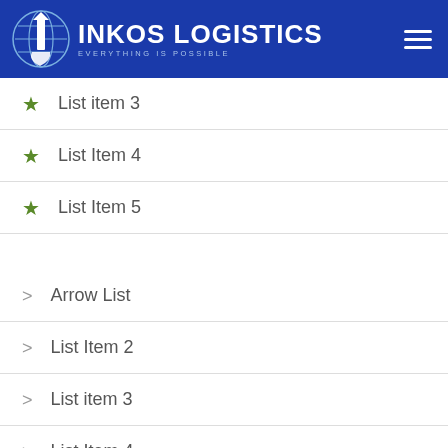INKOS LOGISTICS — EVERYTHING IS POSSIBLE
List item 3
List Item 4
List Item 5
Arrow List
List Item 2
List item 3
List Item 4
List Item 5